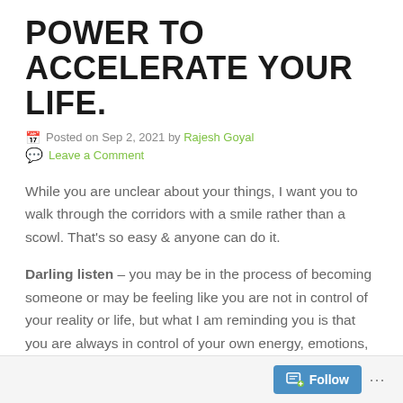POWER TO ACCELERATE YOUR LIFE.
Posted on Sep 2, 2021 by Rajesh Goyal
Leave a Comment
While you are unclear about your things, I want you to walk through the corridors with a smile rather than a scowl. That's so easy & anyone can do it.
Darling listen – you may be in the process of becoming someone or may be feeling like you are not in control of your reality or life, but what I am reminding you is that you are always in control of your own energy, emotions, feelings, expressions & thoughts. Believe me – these affects everything around you.
Follow